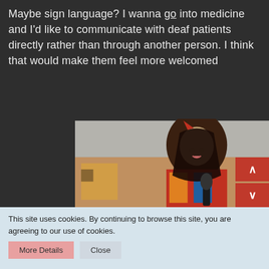Maybe sign language? I wanna go into medicine and I'd like to communicate with deaf patients directly rather than through another person. I think that would make them feel more welcomed
[Figure (photo): Two side-by-side photos of an Asian woman with long dark hair wearing a colorful red, blue and yellow costume/uniform, holding a microphone. Left photo shows her looking up; right photo shows her looking down pensively.]
This site uses cookies. By continuing to browse this site, you are agreeing to our use of cookies.